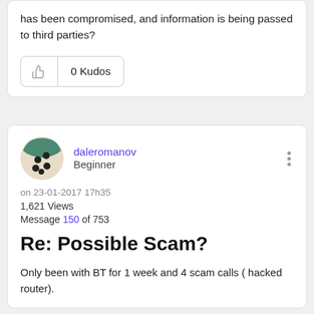has been compromised, and information is being passed to third parties?
[Figure (other): Kudos button with thumbs-up icon showing 0 Kudos]
[Figure (other): User avatar - circular profile image with dark spots on light background, green upper portion]
daleromanov
Beginner
on 23-01-2017 17h35
1,621 Views
Message 150 of 753
Re: Possible Scam?
Only been with BT for 1 week and 4 scam calls ( hacked router).